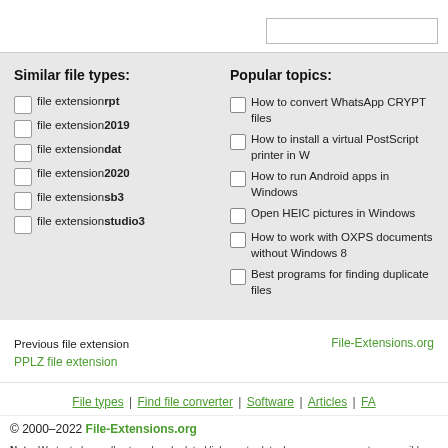Similar file types:
file extension rpt
file extension 2019
file extension dat
file extension 2020
file extension sb3
file extension studio3
Popular topics:
How to convert WhatsApp CRYPT files
How to install a virtual PostScript printer in W
How to run Android apps in Windows
Open HEIC pictures in Windows
How to work with OXPS documents without Windows 8
Best programs for finding duplicate files
Previous file extension
PPLZ file extension
File-Extensions.org
File types | Find file converter | Software | Articles | FA
© 2000–2022 File-Extensions.org
Note: We try to keep all external and related links up-to-date, however we are not responsible for the content or information found on these sites. File-Extensions.org provides links to third party sites only as a convenience and endorsement of either the site, the organization operating such site, or any products or services of that organization at your own risk.
Legal notice: You may not, under any circumstances, resell or reproduce any information for commercial use. Scripts to automatically harvest results are strictly prohibited due to performance reasons and will result in your...